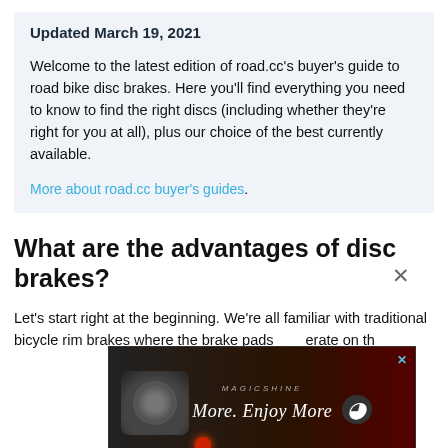Updated March 19, 2021
Welcome to the latest edition of road.cc's buyer's guide to road bike disc brakes. Here you'll find everything you need to know to find the right discs (including whether they're right for you at all), plus our choice of the best currently available.
More about road.cc buyer's guides.
What are the advantages of disc brakes?
Let's start right at the beginning. We're all familiar with traditional bicycle rim brakes where the brake pads operate on th... instead... el's hub.
[Figure (photo): Advertisement banner for Magicshine 'Ride More. Enjoy More' featuring bicycle lights on a dark background with a close button.]